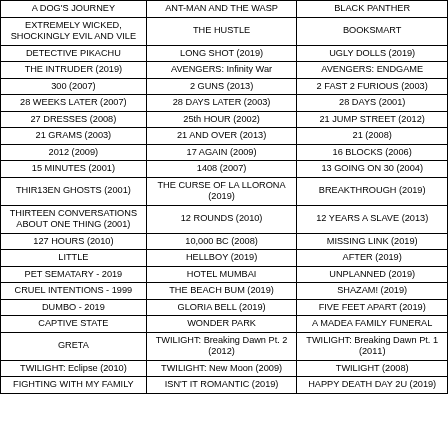| A DOG'S JOURNEY | ANT-MAN AND THE WASP | BLACK PANTHER |
| EXTREMELY WICKED, SHOCKINGLY EVIL AND VILE | THE HUSTLE | BOOKSMART |
| DETECTIVE PIKACHU | LONG SHOT (2019) | UGLY DOLLS (2019) |
| THE INTRUDER (2019) | AVENGERS: Infinity War | AVENGERS: ENDGAME |
| 300 (2007) | 2 GUNS (2013) | 2 FAST 2 FURIOUS (2003) |
| 28 WEEKS LATER (2007) | 28 DAYS LATER (2003) | 28 DAYS (2001) |
| 27 DRESSES (2008) | 25th HOUR (2002) | 21 JUMP STREET (2012) |
| 21 GRAMS (2003) | 21 AND OVER (2013) | 21 (2008) |
| 2012 (2009) | 17 AGAIN (2009) | 16 BLOCKS (2006) |
| 15 MINUTES (2001) | 1408 (2007) | 13 GOING ON 30 (2004) |
| THIR13EN GHOSTS (2001) | THE CURSE OF LA LLORONA (2019) | BREAKTHROUGH (2019) |
| THIRTEEN CONVERSATIONS ABOUT ONE THING (2001) | 12 ROUNDS (2010) | 12 YEARS A SLAVE (2013) |
| 127 HOURS (2010) | 10,000 BC (2008) | MISSING LINK (2019) |
| LITTLE | HELLBOY (2019) | AFTER (2019) |
| PET SEMATARY - 2019 | HOTEL MUMBAI | UNPLANNED (2019) |
| CRUEL INTENTIONS - 1999 | THE BEACH BUM (2019) | SHAZAM! (2019) |
| DUMBO - 2019 | GLORIA BELL (2019) | FIVE FEET APART (2019) |
| CAPTIVE STATE | WONDER PARK | A MADEA FAMILY FUNERAL |
| GRETA | TWILIGHT: Breaking Dawn Pt. 2 (2012) | TWILIGHT: Breaking Dawn Pt. 1 (2011) |
| TWILIGHT: Eclipse (2010) | TWILIGHT: New Moon (2009) | TWILIGHT (2008) |
| FIGHTING WITH MY FAMILY | ISN'T IT ROMANTIC (2019) | HAPPY DEATH DAY 2U (2019) |